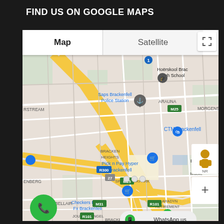FIND US ON GOOGLE MAPS
[Figure (map): Google Maps screenshot showing Brackenfell area in Cape Town, South Africa. Map shows landmarks including Saps Brackenfell Police Station, Hoërskool Brackenfell High School, CTM Brackenfell, Pick n Pay Hyper Brackenfell, Checkers Hyper Fx Brackenfell, Klaradyn Retirement Village, and neighborhoods BRACKEN HEIGHTS, SPRINGBOKPARK, BELLAIR, ARAUNA, MORGENS. Road badges visible: M25, R101, R300, M31, M100, 27. Map has Map/Satellite toggle tabs at top. Green phone button bottom left, WhatsApp us button bottom right, street view person and plus zoom button on right side.]